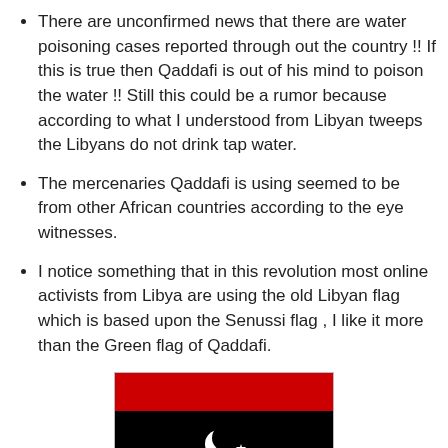There are unconfirmed news that there are water poisoning cases reported through out the country !! If this is true then Qaddafi is out of his mind to poison the water !! Still this could be a rumor because according to what I understood from Libyan tweeps the Libyans do not drink tap water.
The mercenaries Qaddafi is using seemed to be from other African countries according to the eye witnesses.
I notice something that in this revolution most online activists from Libya are using the old Libyan flag which is based upon the Senussi flag , I like it more than the Green flag of Qaddafi.
[Figure (illustration): The old Libyan flag (Senussi flag): three horizontal stripes — red on top, black in the middle (with a white crescent and star), green on the bottom. The flag is displayed inside a thin grey border.]